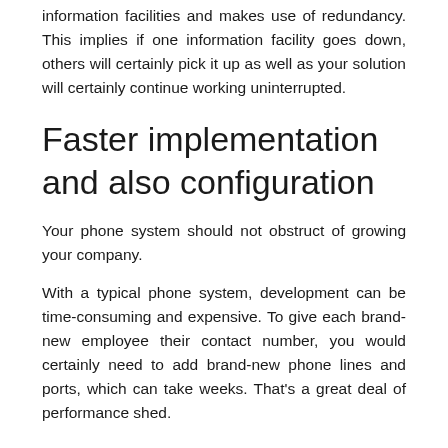information facilities and makes use of redundancy. This implies if one information facility goes down, others will certainly pick it up as well as your solution will certainly continue working uninterrupted.
Faster implementation and also configuration
Your phone system should not obstruct of growing your company.
With a typical phone system, development can be time-consuming and expensive. To give each brand-new employee their contact number, you would certainly need to add brand-new phone lines and ports, which can take weeks. That's a great deal of performance shed.